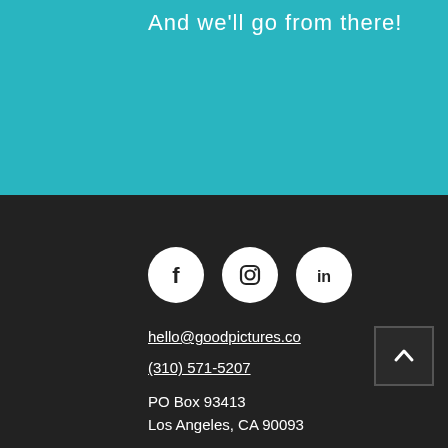And we'll go from there!
[Figure (infographic): Three white circular social media icons on dark background: Facebook (f), Instagram (camera), LinkedIn (in)]
hello@goodpictures.co
(310) 571-5207
PO Box 93413
Los Angeles, CA 90093
© 2022 Good Pictures LLC